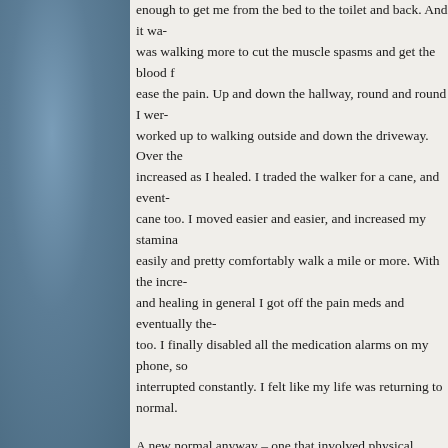enough to get me from the bed to the toilet and back. And it was walking more to cut the muscle spasms and get the blood ease the pain. Up and down the hallway, round and round I worked up to walking outside and down the driveway. Over the increased as I healed. I traded the walker for a cane, and cane too. I moved easier and easier, and increased my stamina easily and pretty comfortably walk a mile or more. With the and healing in general I got off the pain meds and eventually too. I finally disabled all the medication alarms on my phone, interrupted constantly. I felt like my life was returning to normal.
A new normal anyway – one that involved physical therapy and process. I've gotten some of my flexibility back, definitely gained and we've been working on retraining different muscle groups. 10+ years, I've relied on the strength of big muscle groups – tone and strength in the smaller muscle groups that support and specifically the spine. My quads and hamstrings were doing moving my legs, and the hip muscles were letting them. My were holding me upright and taking the strain of lifting instead core muscles hold me up and stabilized, and letting my legs having to re-learn all the right body mechanics to support